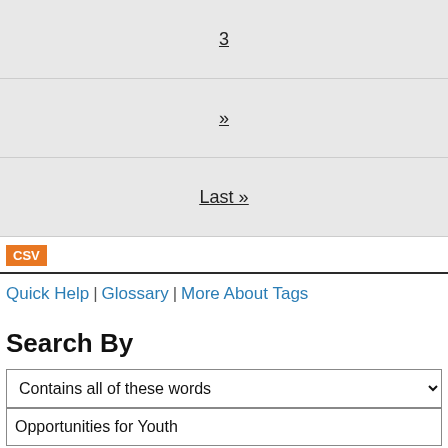3
»
Last »
[Figure (other): CSV download button (orange)]
Quick Help | Glossary | More About Tags
Search By
Contains all of these words
Opportunities for Youth
Year of Publication